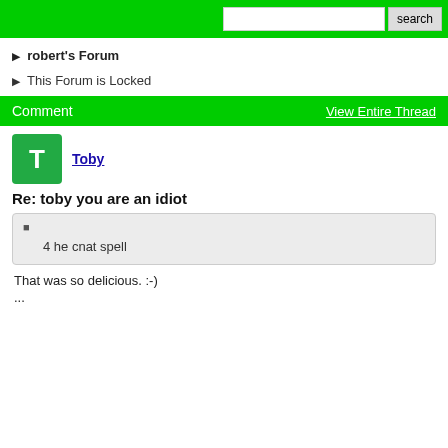search
▶  robert's Forum
▶  This Forum is Locked
Comment   View Entire Thread
Toby
Re: toby you are an idiot
4 he cnat spell
That was so delicious. :-)
...